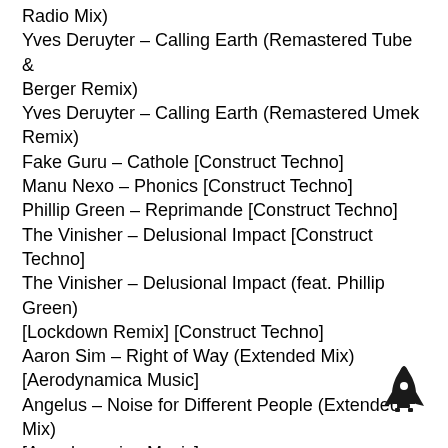Radio Mix)
Yves Deruyter – Calling Earth (Remastered Tube & Berger Remix)
Yves Deruyter – Calling Earth (Remastered Umek Remix)
Fake Guru – Cathole [Construct Techno]
Manu Nexo – Phonics [Construct Techno]
Phillip Green – Reprimande [Construct Techno]
The Vinisher – Delusional Impact [Construct Techno]
The Vinisher – Delusional Impact (feat. Phillip Green) [Lockdown Remix] [Construct Techno]
Aaron Sim – Right of Way (Extended Mix) [Aerodynamica Music]
Angelus – Noise for Different People (Extended Mix) [Aerodynamica Music]
Blue Serigala – The Last Call (Extended Mix) [Aerodynamica Music]
Eryon Stocker & Laucco – Jötunheim (Extended Mix) [Aerodynamica Music]